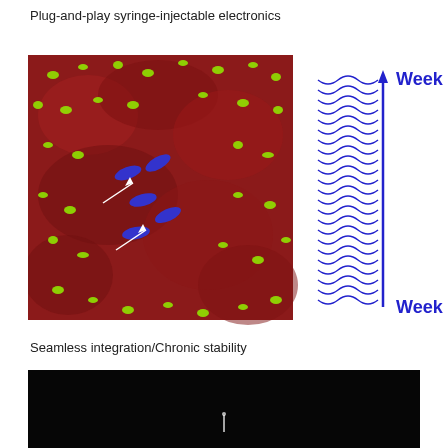Plug-and-play syringe-injectable electronics
[Figure (photo): Fluorescence microscopy image of brain tissue showing red background with scattered green cells (neurons) and blue elongated structures (injected mesh electronics). Two white arrows point to specific blue structures. Accompanied by a diagram showing wavy blue lines between 'Week 3' and 'Week 34' labels with a vertical blue arrow indicating the time span.]
Seamless integration/Chronic stability
[Figure (photo): Dark/black background image with a small bright vertical mark near the center bottom area.]